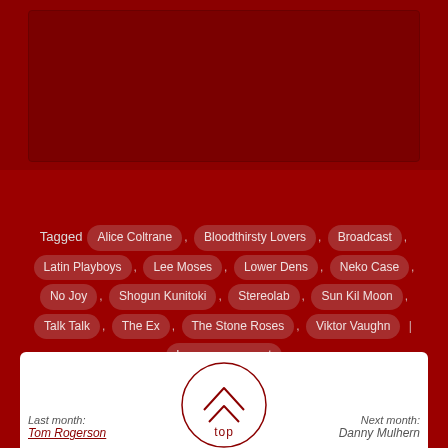[Figure (photo): Dark red image area at top of page]
More...
Tagged Alice Coltrane , Bloodthirsty Lovers , Broadcast , Latin Playboys , Lee Moses , Lower Dens , Neko Case , No Joy , Shogun Kunitoki , Stereolab , Sun Kil Moon , Talk Talk , The Ex , The Stone Roses , Viktor Vaughn | Leave a comment
[Figure (illustration): Circle with upward chevron arrow and text 'top' — back to top button]
Last month:
Tom Rogerson
Next month:
Danny Mulhern